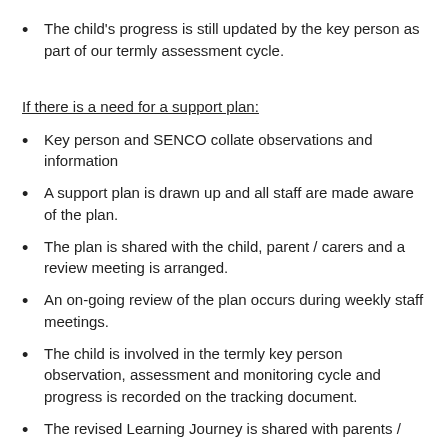The child's progress is still updated by the key person as part of our termly assessment cycle.
If there is a need for a support plan:
Key person and SENCO collate observations and information
A support plan is drawn up and all staff are made aware of the plan.
The plan is shared with the child, parent / carers and a review meeting is arranged.
An on-going review of the plan occurs during weekly staff meetings.
The child is involved in the termly key person observation, assessment and monitoring cycle and progress is recorded on the tracking document.
The revised Learning Journey is shared with parents /